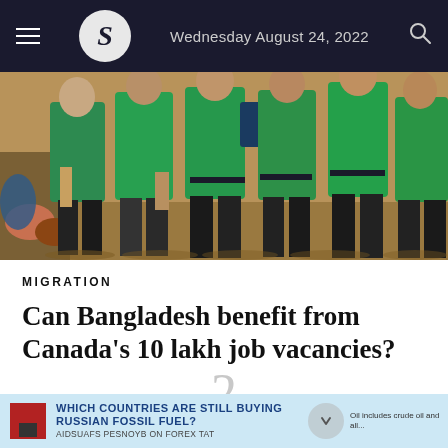Wednesday August 24, 2022
[Figure (photo): Group of men wearing green t-shirts standing in a line, carrying bags, likely migrant workers at an airport or transit point]
MIGRATION
Can Bangladesh benefit from Canada’s 10 lakh job vacancies?
2
[Figure (infographic): Advertisement banner: WHICH COUNTRIES ARE STILL BUYING RUSSIAN FOSSIL FUEL? Oil includes crude oil and all...]